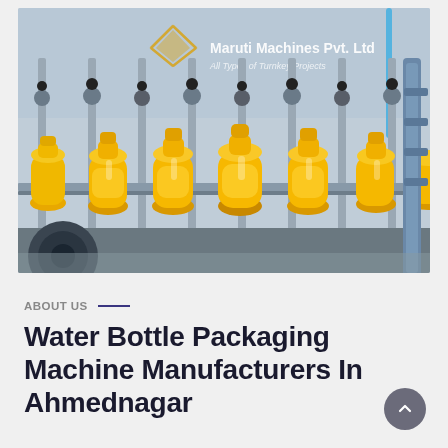[Figure (photo): Industrial bottling machine filling orange juice/beverage into yellow PET bottles on a production line conveyor. Several bottles are being filled simultaneously. Maruti Machines Pvt. Ltd. logo and text 'All Types of Turnkey Projects' watermarked on the image.]
ABOUT US
Water Bottle Packaging Machine Manufacturers In Ahmednagar